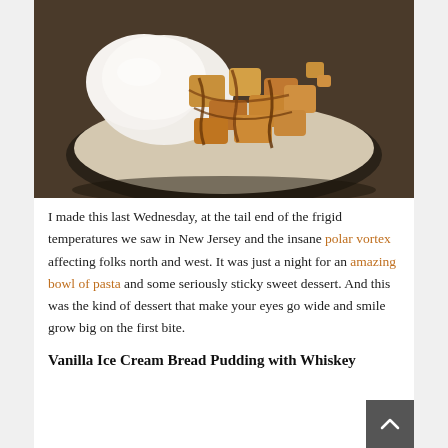[Figure (photo): A bowl of bread pudding topped with caramel/whiskey sauce and a scoop of vanilla ice cream, photographed from above on a dark surface.]
I made this last Wednesday, at the tail end of the frigid temperatures we saw in New Jersey and the insane polar vortex affecting folks north and west. It was just a night for an amazing bowl of pasta and some seriously sticky sweet dessert. And this was the kind of dessert that make your eyes go wide and smile grow big on the first bite.
Vanilla Ice Cream Bread Pudding with Whiskey